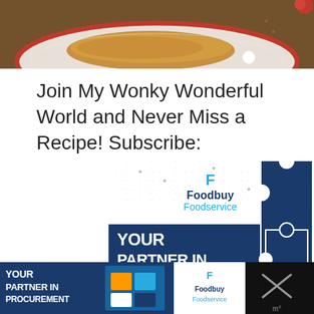[Figure (photo): Top portion of a food photo showing a cookie or baked good on a white plate with red rim, with white and red candy pieces visible, on a dark wooden background]
Join My Wonky Wonderful World and Never Miss a Recipe! Subscribe:
[Figure (illustration): Foodbuy Foodservice advertisement banner showing logo with stylized F icon, text 'Foodbuy Foodservice', puzzle pieces graphic, and dark blue section with text 'YOUR PARTNER IN PROCUREMENT']
[Figure (screenshot): Bottom page banner advertisement for Foodbuy Foodservice - 'YOUR PARTNER IN PROCUREMENT' with puzzle pieces image and Foodbuy Foodservice logo on white background, with close X button on right]